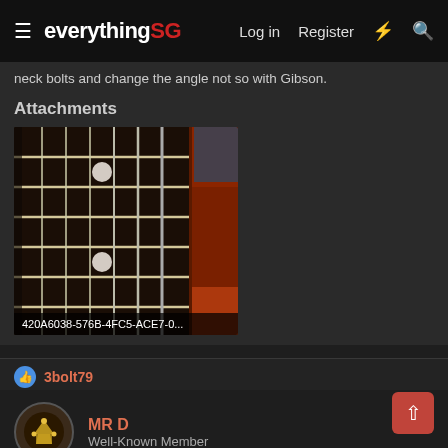everythingSG — Log in  Register
neck bolts and change the angle not so with Gibson.
Attachments
[Figure (photo): Close-up photo of a guitar fretboard/neck with frets and strings visible, reddish guitar body visible at right edge. Filename label at bottom: 420A6038-576B-4FC5-ACE7-0...]
420A6038-576B-4FC5-ACE7-0...
3bolt79
MR D
Well-Known Member